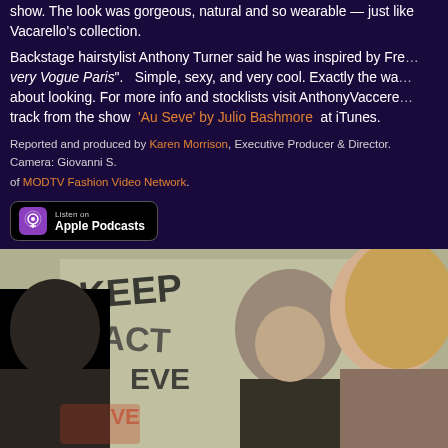Vacarello's collection.
Backstage hairstylist Anthony Turner said he was inspired by French style — very Vogue Paris". Simple, sexy, and very cool. Exactly the way about looking. For more info and stocklists visit AnthonyVaccarello track from the show 'Au Seve' by Julio Bashmore at iTunes.
Reported and produced by Karen Morrison, Executive Producer & Director. Camera: Giovanni S. of MODTV Fashion Video Network.
[Figure (logo): Listen on Apple Podcasts badge]
[Figure (photo): Backstage photo showing a man (back of head, left), hairstylist speaking in center against graffiti wall, and a smiling blonde female model on the right. A video play button is visible in the center-right area.]